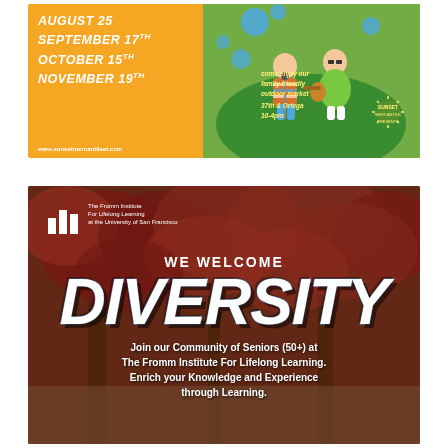[Figure (illustration): Sunset Mercantile outdoor market advertisement. Orange left panel with dates: August 25, September 17th, October 15th, November 19th, and website www.sunsetmercantileat.com. Green right panel with cartoon characters playing music, text 'come enjoy our family friendly outdoor market 37th & Ortega 10-4pm' and Sunset Mercantile Presents logo.]
[Figure (illustration): The Fromm Institute For Lifelong Learning advertisement. Background photo of red autumn tree foliage. White Fromm Institute logo top left. Large text 'WE WELCOME DIVERSITY' in white/blue. Text below: 'Join our Community of Seniors (50+) at The Fromm Institute For Lifelong Learning. Enrich your Knowledge and Experience through Learning.']